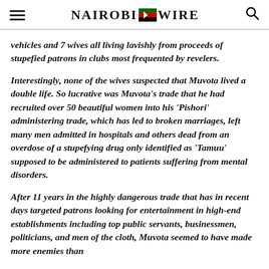Nairobi Wire
vehicles and 7 wives all living lavishly from proceeds of stupefied patrons in clubs most frequented by revelers.
Interestingly, none of the wives suspected that Muvota lived a double life. So lucrative was Muvota’s trade that he had recruited over 50 beautiful women into his ‘Pishori’ administering trade, which has led to broken marriages, left many men admitted in hospitals and others dead from an overdose of a stupefying drug only identified as ‘Tamuu’ supposed to be administered to patients suffering from mental disorders.
After 11 years in the highly dangerous trade that has in recent days targeted patrons looking for entertainment in high-end establishments including top public servants, businessmen, politicians, and men of the cloth, Muvota seemed to have made more enemies than